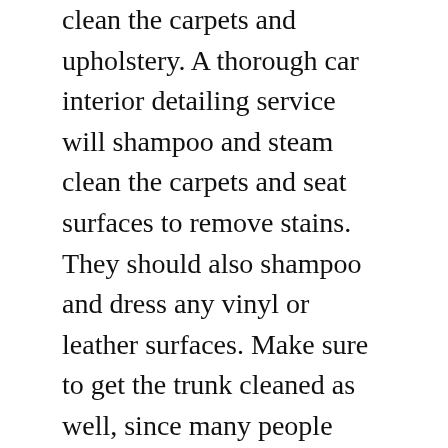clean the carpets and upholstery. A thorough car interior detailing service will shampoo and steam clean the carpets and seat surfaces to remove stains. They should also shampoo and dress any vinyl or leather surfaces. Make sure to get the trunk cleaned as well, since many people don't know about it. Car detailing doesn't have to be time-consuming, but it should be done regularly to maintain its showroom-like appearance.
Engine bay cleaning
While the exterior fit and finish of a car will always get most of the attention, you should